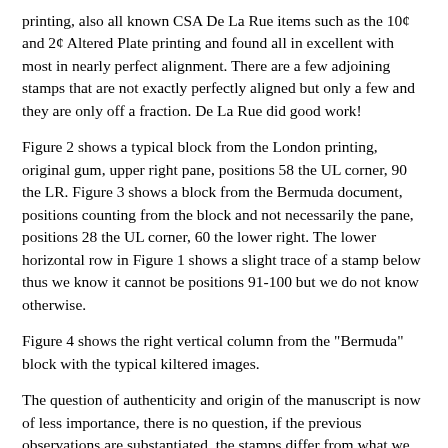printing, also all known CSA De La Rue items such as the 10¢ and 2¢ Altered Plate printing and found all in excellent with most in nearly perfect alignment. There are a few adjoining stamps that are not exactly perfectly aligned but only a few and they are only off a fraction. De La Rue did good work!
Figure 2 shows a typical block from the London printing, original gum, upper right pane, positions 58 the UL corner, 90 the LR. Figure 3 shows a block from the Bermuda document, positions counting from the block and not necessarily the pane, positions 28 the UL corner, 60 the lower right. The lower horizontal row in Figure 1 shows a slight trace of a stamp below thus we know it cannot be positions 91-100 but we do not know otherwise.
Figure 4 shows the right vertical column from the "Bermuda" block with the typical kiltered images.
The question of authenticity and origin of the manuscript is now of less importance, there is no question, if the previous observations are substantiated, the stamps differ from what we now know the CSA received and issued, and now exist as printed stamps or metal plates.
I decided to try to verify the observations and to quantify them. If one measures the diagonal of our subject Bermuda block, stamp outside corners, upper left to lower right you get 25.85 cm and